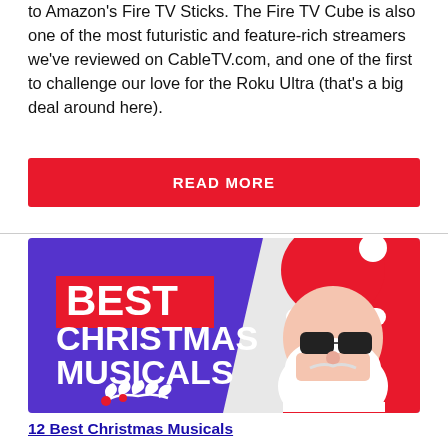to Amazon's Fire TV Sticks. The Fire TV Cube is also one of the most futuristic and feature-rich streamers we've reviewed on CableTV.com, and one of the first to challenge our love for the Roku Ultra (that's a big deal around here).
READ MORE
[Figure (illustration): Promotional banner image for '12 Best Christmas Musicals' featuring a purple and red background with white bold text reading 'BEST CHRISTMAS MUSICALS' and an illustration of a cool Santa Claus wearing sunglasses and a red suit.]
12 Best Christmas Musicals